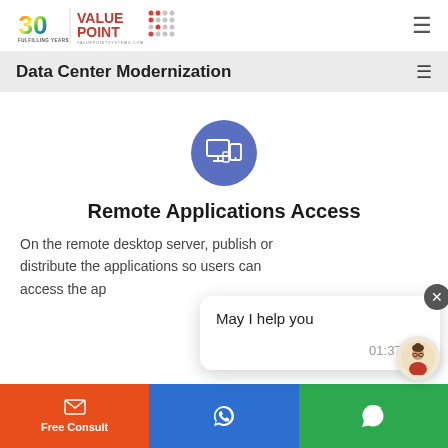[Figure (logo): ValuePoint Systems 30 Fulfilling Years logo with rainbow 30 and VALUE POINT text in red/grey with dot grid pattern]
Data Center Modernization
[Figure (illustration): Blue circle icon with white desktop/laptop/mobile devices illustration]
Remote Applications Access
On the remote desktop server, publish or distribute the applications so users can access the ap...
[Figure (screenshot): Chat popup with message 'May I help you' and timestamp 01:37 AM with close X button]
Free Consult | phone icon | WhatsApp icon